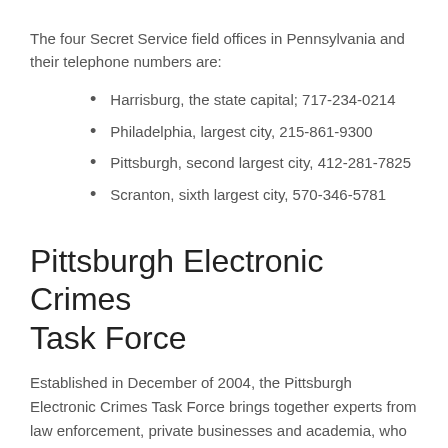The four Secret Service field offices in Pennsylvania and their telephone numbers are:
Harrisburg, the state capital; 717-234-0214
Philadelphia, largest city, 215-861-9300
Pittsburgh, second largest city, 412-281-7825
Scranton, sixth largest city, 570-346-5781
Pittsburgh Electronic Crimes Task Force
Established in December of 2004, the Pittsburgh Electronic Crimes Task Force brings together experts from law enforcement, private businesses and academia, who share their knowledge and resources to create a more secure electronic environment and